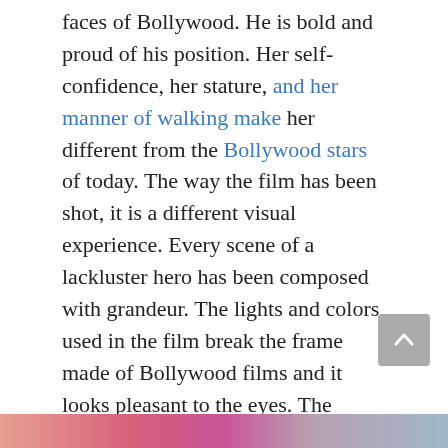faces of Bollywood. He is bold and proud of his position. Her self-confidence, her stature, and her manner of walking make her different from the Bollywood stars of today. The way the film has been shot, it is a different visual experience. Every scene of a lackluster hero has been composed with grandeur. The lights and colors used in the film break the frame made of Bollywood films and it looks pleasant to the eyes. The action is great and new here. Not a copy of any Hollywood movie. Similarly, the dances of Allu Arjun, Rashmika Mandanna, and Samantha attract. His steps arouse excitement with rhythm. There is repeat value in this music and dance.
[Figure (photo): Partial colorful image strip visible at bottom of page, showing what appears to be Bollywood film imagery in warm pink, red, and blue tones]